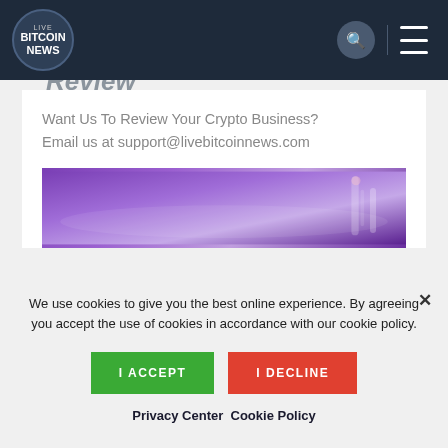LIVE BITCOIN NEWS
Review
Want Us To Review Your Crypto Business?
Email us at support@livebitcoinnews.com
[Figure (photo): Purple/violet atmospheric or technology themed image with vertical light streak on right side]
We use cookies to give you the best online experience. By agreeing you accept the use of cookies in accordance with our cookie policy.
I ACCEPT   I DECLINE
Privacy Center   Cookie Policy